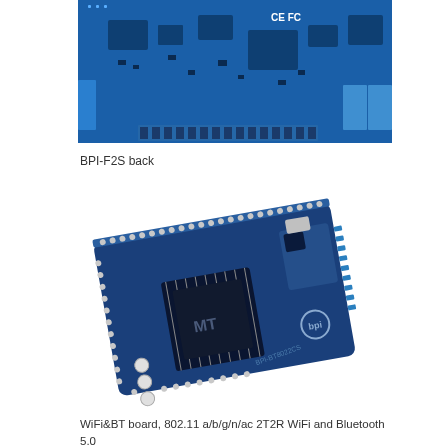[Figure (photo): Back view of BPI-F2S board, a blue PCB with CE and FC certification marks, various components and connectors visible]
BPI-F2S back
[Figure (photo): WiFi and Bluetooth module board labeled BPI-BT8022CS, a small dark blue PCB with a main chip, antenna connectors, and header pins along the edges]
WiFi&BT board, 802.11 a/b/g/n/ac 2T2R WiFi and Bluetooth 5.0